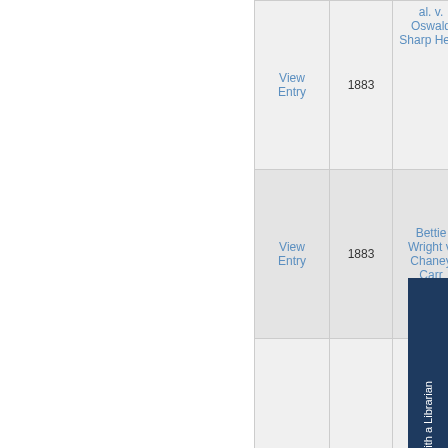| View Entry | Year | Case Name |
| --- | --- | --- |
| View Entry | 1883 | ... al. v. Oswald Sharp Heirs |
| View Entry | 1883 | Bettie Wright v. Chaney Carr |
|  |  |  |
Click Here to Chat with a Librarian